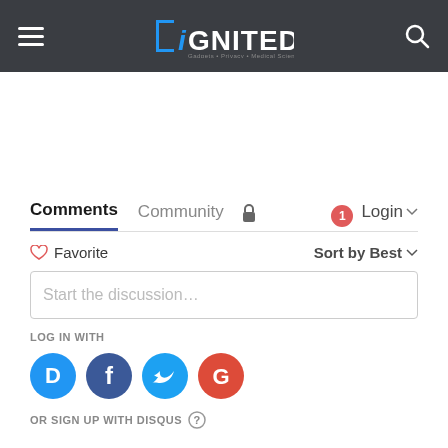DiGNITED — hamburger menu, logo, search icon
[Figure (screenshot): White advertisement space area]
Comments  Community  🔒  1  Login ▾
♡ Favorite  Sort by Best ▾
Start the discussion…
LOG IN WITH
[Figure (logo): Social login icons: Disqus (blue circle D), Facebook (dark blue f), Twitter (light blue bird), Google (red G)]
OR SIGN UP WITH DISQUS ?